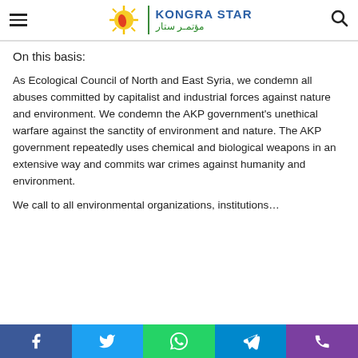Kongra Star - مؤتمر ستار
On this basis:
As Ecological Council of North and East Syria, we condemn all abuses committed by capitalist and industrial forces against nature and environment. We condemn the AKP government's unethical warfare against the sanctity of environment and nature. The AKP government repeatedly uses chemical and biological weapons in an extensive way and commits war crimes against humanity and environment.
We call to all environmental organizations, institutions…